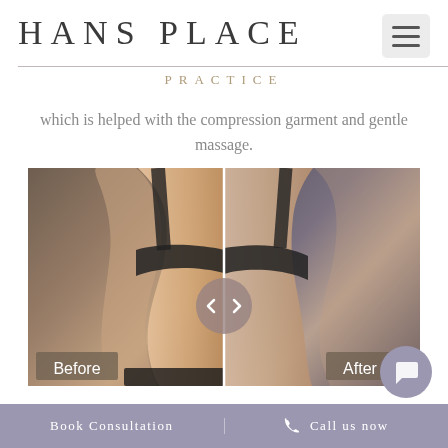HANS PLACE
PRACTICE
which is helped with the compression garment and gentle massage.
[Figure (photo): Before and after comparison photo showing a patient's torso from the side, with a slider divider in the center. Left side labeled 'Before', right side labeled 'After'. A circular arrow icon in the center indicates a swipeable comparison slider.]
Book Consultation   Call us now